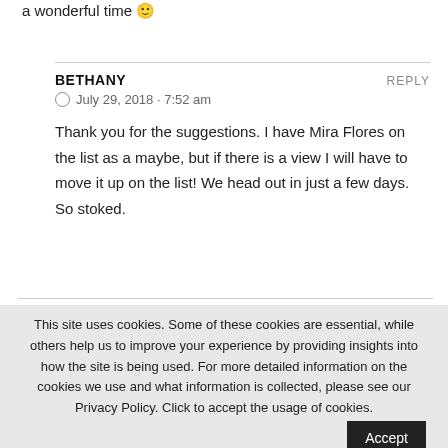a wonderful time 🙂
BETHANY
July 29, 2018 · 7:52 am
Thank you for the suggestions. I have Mira Flores on the list as a maybe, but if there is a view I will have to move it up on the list! We head out in just a few days. So stoked.
This site uses cookies. Some of these cookies are essential, while others help us to improve your experience by providing insights into how the site is being used. For more detailed information on the cookies we use and what information is collected, please see our Privacy Policy. Click to accept the usage of cookies.
Read More